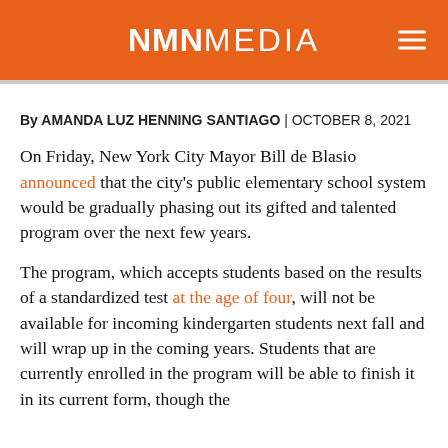NMN MEDIA
By AMANDA LUZ HENNING SANTIAGO | OCTOBER 8, 2021
On Friday, New York City Mayor Bill de Blasio announced that the city's public elementary school system would be gradually phasing out its gifted and talented program over the next few years.
The program, which accepts students based on the results of a standardized test at the age of four, will not be available for incoming kindergarten students next fall and will wrap up in the coming years. Students that are currently enrolled in the program will be able to finish it in its current form, though the program will be replaced with Brilliant NYC. Thi